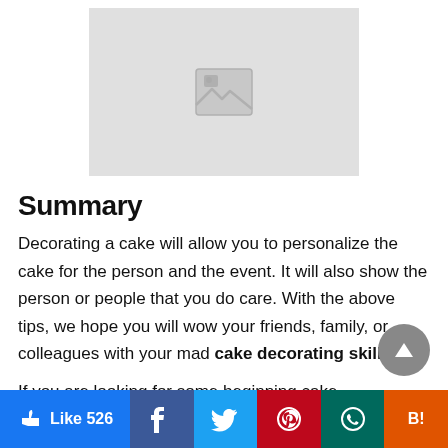[Figure (photo): Placeholder image with a grey background and an image icon in the center]
Summary
Decorating a cake will allow you to personalize the cake for the person and the event. It will also show the person or people that you do care. With the above tips, we hope you will wow your friends, family, or colleagues with your mad cake decorating skills.
If you are looking for some beginning cake